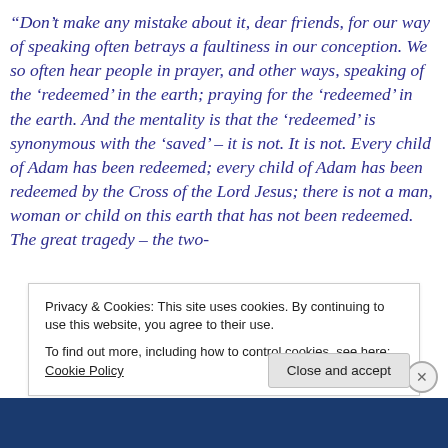“Don’t make any mistake about it, dear friends, for our way of speaking often betrays a faultiness in our conception. We so often hear people in prayer, and other ways, speaking of the ‘redeemed’ in the earth; praying for the ‘redeemed’ in the earth. And the mentality is that the ‘redeemed’ is synonymous with the ‘saved’ – it is not. It is not. Every child of Adam has been redeemed; every child of Adam has been redeemed by the Cross of the Lord Jesus; there is not a man, woman or child on this earth that has not been redeemed. The great tragedy – the two-
Privacy & Cookies: This site uses cookies. By continuing to use this website, you agree to their use.
To find out more, including how to control cookies, see here: Cookie Policy
Close and accept